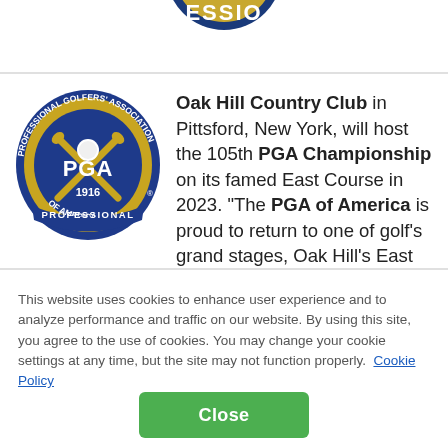[Figure (logo): PGA Professional Golfers' Association of America circular logo with blue and gold colors, featuring crossed golf clubs, a golf ball, and '1916' in the center, with 'PGA' prominently displayed and 'PROFESSIONAL' at the bottom]
Oak Hill Country Club in Pittsford, New York, will host the 105th PGA Championship on its famed East Course in 2023. "The PGA of America is proud to return to one of golf's grand stages, Oak Hill's East Course, which has tested the
This website uses cookies to enhance user experience and to analyze performance and traffic on our website. By using this site, you agree to the use of cookies. You may change your cookie settings at any time, but the site may not function properly.  Cookie Policy